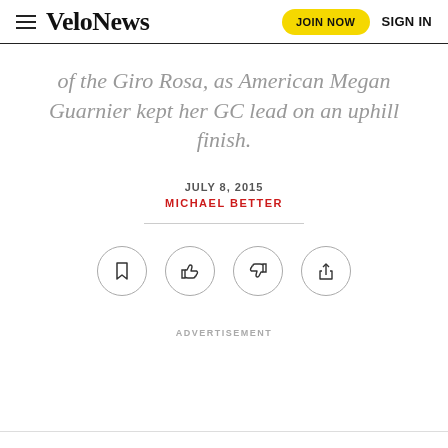VeloNews | JOIN NOW | SIGN IN
of the Giro Rosa, as American Megan Guarnier kept her GC lead on an uphill finish.
JULY 8, 2015
MICHAEL BETTER
[Figure (other): Row of four icon buttons: bookmark, thumbs up, thumbs down, share]
ADVERTISEMENT